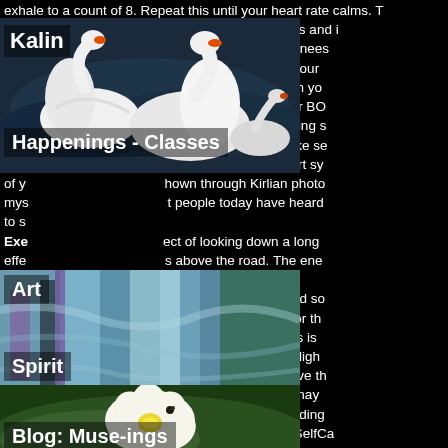exhale to a count of 8. Repeat this until your heart rate calms. The ... been stressed do this and ... des, then bend your knees ... f yourself and shake your ... n internal check-in with yo ... portant to listen to your BO ... oing your Temple running s ... or Tired. HALT and take se ... led by a protective alert sy ... hown through Kirlian photo ... t people today have heard ... to s...
[Figure (photo): Photo of white swans on dark water, label 'Kalin' overlaid top-left]
Happenings - Classes
Exe... ect of looking down a long ... effe... s above the road. The ene... hea... mmer. Now... ou, relax your eyes and so... bet... ur fingers and watch for th... tha... t surrounds your hands is ... Try... d in front of a white or ligh... Rel... e as you look just above th... boo... the width of this aura may... Pra... thing that's alive, including... #Be... EsotericKnowledge #SelfC... #He... rth
[Figure (photo): Abstract colorful art painting with blues, purples and greens, label 'Art' overlaid top-left]
[Figure (photo): White water lily flower on green lily pad, label 'Spirit' overlaid, 'Blog: Muse-ings' at bottom]